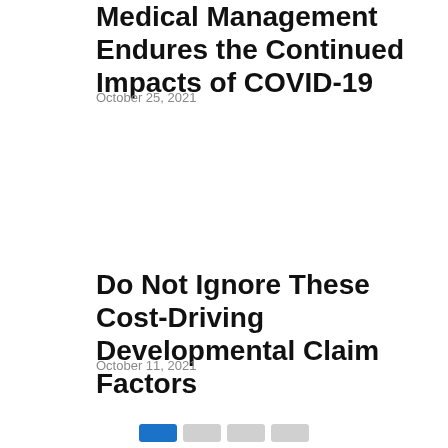Medical Management Endures the Continued Impacts of COVID-19
October 25, 2021
Do Not Ignore These Cost-Driving Developmental Claim Factors
October 11, 2021